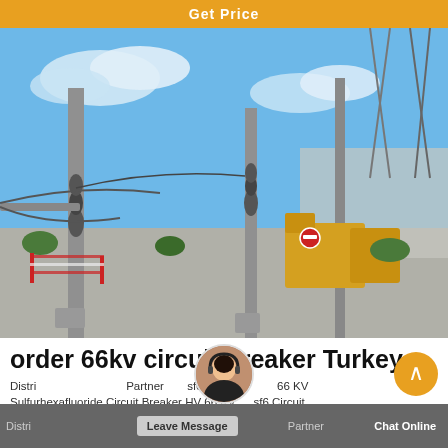Get Price
[Figure (photo): Outdoor high-voltage electrical substation with tall grey steel poles, insulators, high-tension wires, yellow machinery in background, concrete walls, clear blue sky with clouds, red-and-white safety barriers on ground.]
order 66kv circuit breaker Turkey
Distributing Channel Partner ... sf6 BREAKER 66 KV Sulfurhexafluoride Circuit Breaker HV 66 KV ... sf6 Circuit ...
Leave Message   Chat Online